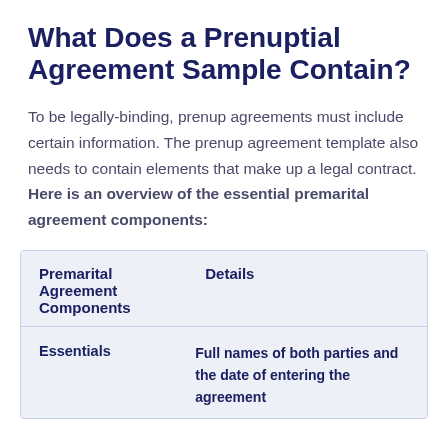What Does a Prenuptial Agreement Sample Contain?
To be legally-binding, prenup agreements must include certain information. The prenup agreement template also needs to contain elements that make up a legal contract. Here is an overview of the essential premarital agreement components:
| Premarital Agreement Components | Details |
| --- | --- |
| Essentials | Full names of both parties and the date of entering the agreement |